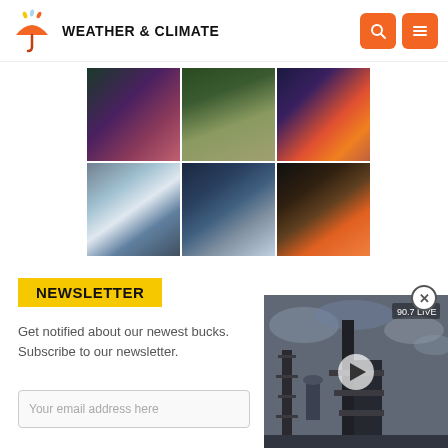WEATHER & CLIMATE
[Figure (photo): 3x2 grid of weather and nature photography: forest path with purple sky, misty castle spire, vivid sunset over lake, snowy mountain peaks with hikers, snow-covered path with lantern, fire and water splash]
NEWSLETTER
Get notified about our newest bucks. Subscribe to our newsletter.
[Figure (screenshot): Video player thumbnail showing rocket launch tower against cloudy sky with play button overlay, 90.7 LIVE indicator]
Your email address here